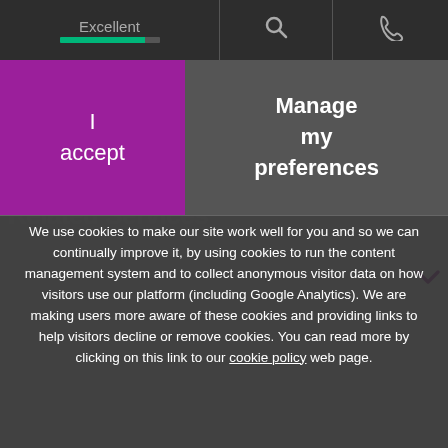Excellent | [search icon] | [phone icon]
Related Services
[Figure (screenshot): Cookie consent overlay with two buttons: 'I accept' (purple) on the left and 'Manage my preferences' (gray) on the right]
We use cookies to make our site work well for you and so we can continually improve it, by using cookies to run the content management system and to collect anonymous visitor data on how visitors use our platform (including Google Analytics). We are making users more aware of these cookies and providing links to help visitors decline or remove cookies. You can read more by clicking on this link to our cookie policy web page.